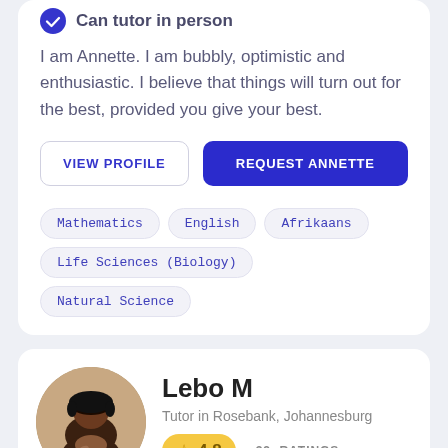Can tutor in person
I am Annette. I am bubbly, optimistic and enthusiastic. I believe that things will turn out for the best, provided you give your best.
VIEW PROFILE | REQUEST ANNETTE
Mathematics
English
Afrikaans
Life Sciences (Biology)
Natural Science
Lebo M
Tutor in Rosebank, Johannesburg
4.8  32 RATINGS
Background Checked
1000 Hours Tutored